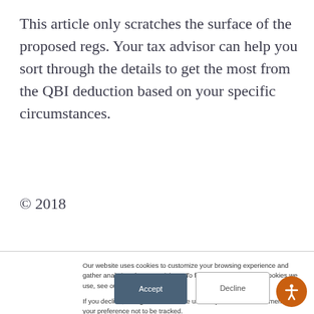This article only scratches the surface of the proposed regs. Your tax advisor can help you sort through the details to get the most from the QBI deduction based on your specific circumstances.
© 2018
Our website uses cookies to customize your browsing experience and gather analytics about our visitors. To find out more about the cookies we use, see our Privacy Policy.

If you decline, a single cookie will be used in your browser to remember your preference not to be tracked.